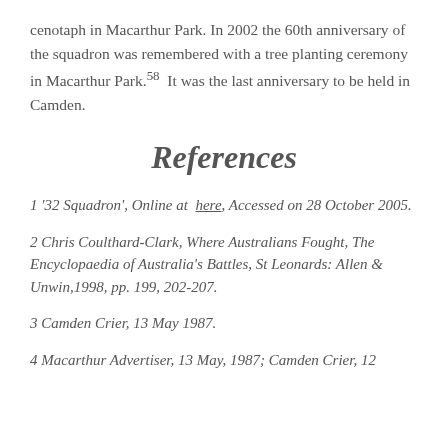cenotaph in Macarthur Park. In 2002 the 60th anniversary of the squadron was remembered with a tree planting ceremony in Macarthur Park.58  It was the last anniversary to be held in Camden.
References
1 '32 Squadron', Online at  here, Accessed on 28 October 2005.
2 Chris Coulthard-Clark, Where Australians Fought, The Encyclopaedia of Australia's Battles, St Leonards: Allen & Unwin,1998, pp. 199, 202-207.
3 Camden Crier, 13 May 1987.
4 Macarthur Advertiser, 13 May, 1987; Camden Crier, 12